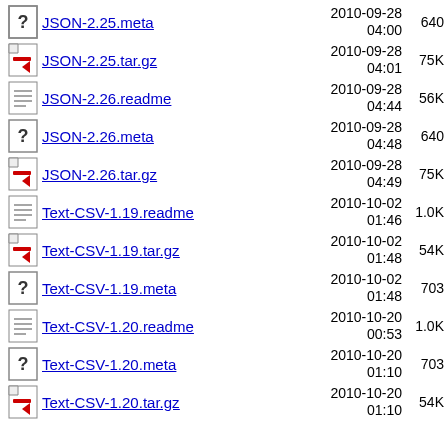JSON-2.25.meta  2010-09-28 04:00  640
JSON-2.25.tar.gz  2010-09-28 04:01  75K
JSON-2.26.readme  2010-09-28 04:44  56K
JSON-2.26.meta  2010-09-28 04:48  640
JSON-2.26.tar.gz  2010-09-28 04:49  75K
Text-CSV-1.19.readme  2010-10-02 01:46  1.0K
Text-CSV-1.19.tar.gz  2010-10-02 01:48  54K
Text-CSV-1.19.meta  2010-10-02 01:48  703
Text-CSV-1.20.readme  2010-10-20 00:53  1.0K
Text-CSV-1.20.meta  2010-10-20 01:10  703
Text-CSV-1.20.tar.gz  2010-10-20 01:10  54K